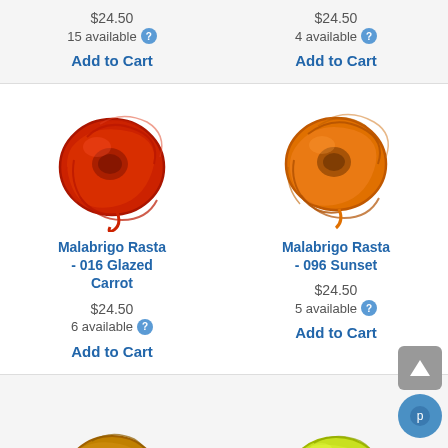$24.50
15 available
Add to Cart
$24.50
4 available
Add to Cart
[Figure (photo): Red/orange skein of Malabrigo Rasta yarn]
Malabrigo Rasta - 016 Glazed Carrot
$24.50
6 available
Add to Cart
[Figure (photo): Orange skein of Malabrigo Rasta yarn]
Malabrigo Rasta - 096 Sunset
$24.50
5 available
Add to Cart
[Figure (photo): Golden yellow skein of Malabrigo Rasta yarn (partially visible)]
[Figure (photo): Yellow-green skein of Malabrigo Rasta yarn (partially visible)]